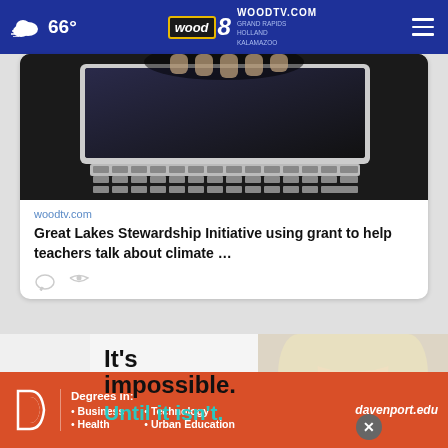66° woodtv.com GRAND RAPIDS HOLLAND KALAMAZOO
[Figure (screenshot): Website card showing a laptop keyboard photo with link preview for woodtv.com article: Great Lakes Stewardship Initiative using grant to help teachers talk about climate ...]
woodtv.com
Great Lakes Stewardship Initiative using grant to help teachers talk about climate …
[Figure (advertisement): Davenport University advertisement. Top section shows text 'It's impossible. Until it isn't.' with photo of young blonde child wearing large glasses. Bottom banner in orange/red shows Davenport logo with text: Degrees in: Business, Health, Technology, Urban Education. davenport.edu]